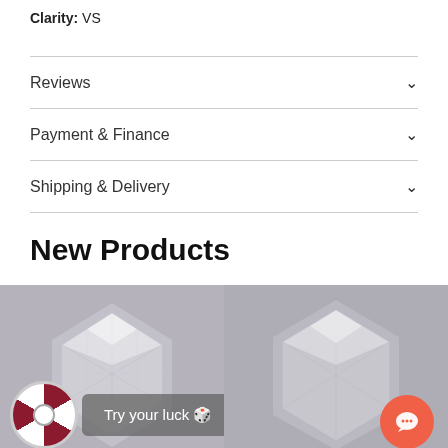Clarity: VS
Reviews
Payment & Finance
Shipping & Delivery
New Products
[Figure (photo): Two radiant-cut diamonds displayed side by side on a grey background. Left diamond and right diamond both showing brilliant-cut facets from above. A spinner wheel widget and 'Try your luck 🎲' button overlay the bottom-left of the image. An orange chat button overlays the bottom-right.]